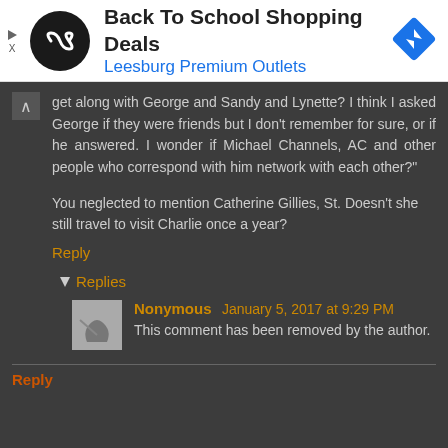[Figure (screenshot): Advertisement banner for Back To School Shopping Deals at Leesburg Premium Outlets, with circular black logo with infinity-like symbol on the left and a blue diamond navigation icon on the right.]
get along with George and Sandy and Lynette? I think I asked George if they were friends but I don't remember for sure, or if he answered. I wonder if Michael Channels, AC and other people who correspond with him network with each other?"
You neglected to mention Catherine Gillies, St. Doesn't she still travel to visit Charlie once a year?
Reply
Replies
Nonymous January 5, 2017 at 9:29 PM
This comment has been removed by the author.
Reply